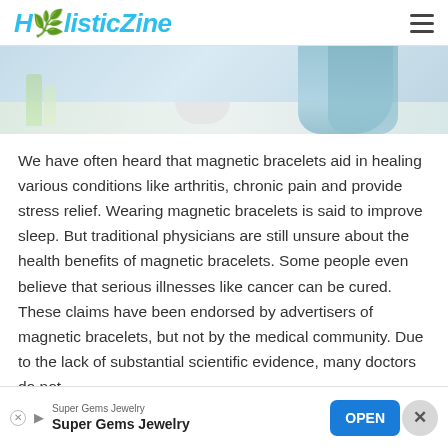HolisticZine
[Figure (photo): Lab scene with a person wearing blue gloves working at a lab bench with glass vials and equipment]
We have often heard that magnetic bracelets aid in healing various conditions like arthritis, chronic pain and provide stress relief. Wearing magnetic bracelets is said to improve sleep. But traditional physicians are still unsure about the health benefits of magnetic bracelets. Some people even believe that serious illnesses like cancer can be cured. These claims have been endorsed by advertisers of magnetic bracelets, but not by the medical community. Due to the lack of substantial scientific evidence, many doctors do not
Super Gems Jewelry
Super Gems Jewelry
OPEN